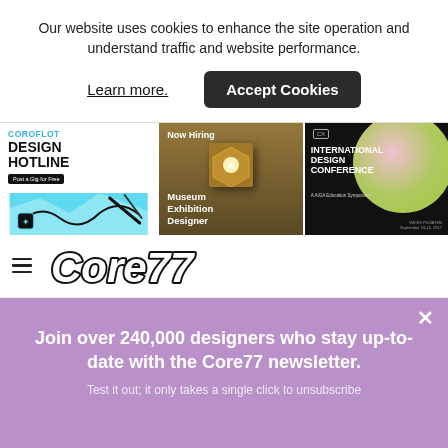Our website uses cookies to enhance the site operation and understand traffic and website performance.
Learn more.
Accept Cookies
[Figure (illustration): Three advertisement banners side by side: Coroflot Design Hotline (Post a Gig for Free), Museum Exhibition Designer (Now Hiring), and International Design Conference]
[Figure (logo): Core77 graffiti-style logo with hamburger menu icon]
Join over 240,000 designers who stay up-to-date with the Core77 newsletter.
Test it out; it only takes a single click to unsubscribe